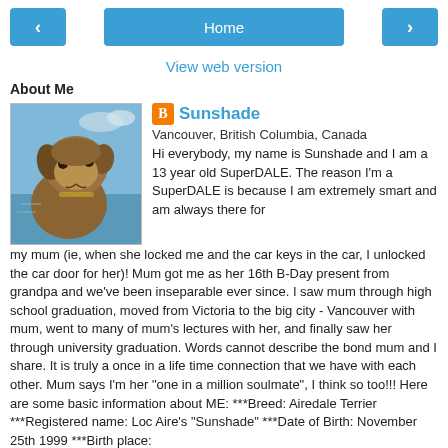< Home >
View web version
About Me
[Figure (photo): Photo of an Airedale Terrier dog outdoors near water, with blue sky in background]
Sunshade
Vancouver, British Columbia, Canada
Hi everybody, my name is Sunshade and I am a 13 year old SuperDALE. The reason I'm a SuperDALE is because I am extremely smart and am always there for my mum (ie, when she locked me and the car keys in the car, I unlocked the car door for her)! Mum got me as her 16th B-Day present from grandpa and we've been inseparable ever since. I saw mum through high school graduation, moved from Victoria to the big city - Vancouver with mum, went to many of mum's lectures with her, and finally saw her through university graduation. Words cannot describe the bond mum and I share. It is truly a once in a life time connection that we have with each other. Mum says I'm her "one in a million soulmate", I think so too!!! Here are some basic information about ME: ***Breed: Airedale Terrier ***Registered name: Loc Aire's "Sunshade" ***Date of Birth: November 25th 1999 ***Birth place: